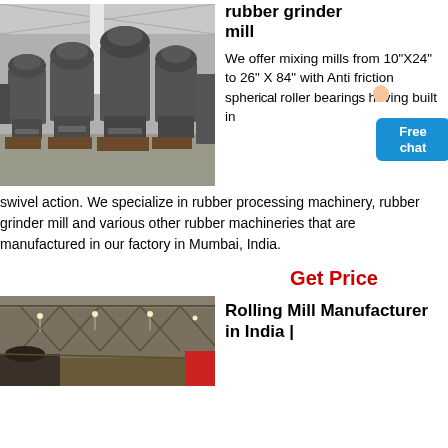[Figure (photo): Industrial mixing mills/rubber grinder mills in a factory warehouse setting, multiple large grey cylindrical machines on wheeled platforms]
rubber grinder mill
We offer mixing mills from 10"X24" to 26" X 84" with Anti friction spherical roller bearings having built in swivel action. We specialize in rubber processing machinery, rubber grinder mill and various other rubber machineries that are manufactured in our factory in Mumbai, India.
Get Price
[Figure (photo): Interior of a large industrial factory building with steel roof trusses and lighting]
Rolling Mill Manufacturer in India |